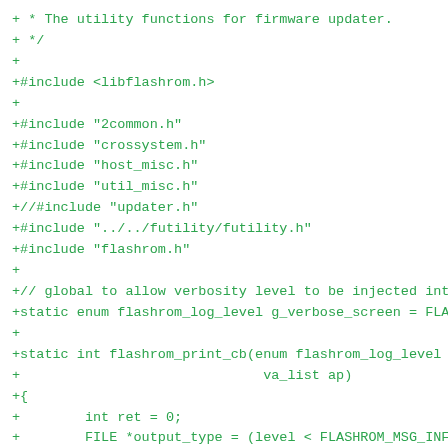+ * The utility functions for firmware updater.
+ */
+
+#include <libflashrom.h>
+
+#include "2common.h"
+#include "crossystem.h"
+#include "host_misc.h"
+#include "util_misc.h"
+//#include "updater.h"
+#include "../../futility/futility.h"
+#include "flashrom.h"
+
+// global to allow verbosity level to be injected int
+static enum flashrom_log_level g_verbose_screen = FLA
+
+static int flashrom_print_cb(enum flashrom_log_level
+                              va_list ap)
+{
+        int ret = 0;
+        FILE *output_type = (level < FLASHROM_MSG_INFO
+